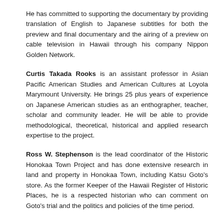He has committed to supporting the documentary by providing translation of English to Japanese subtitles for both the preview and final documentary and the airing of a preview on cable television in Hawaii through his company Nippon Golden Network.
Curtis Takada Rooks is an assistant professor in Asian Pacific American Studies and American Cultures at Loyola Marymount University. He brings 25 plus years of experience on Japanese American studies as an enthographer, teacher, scholar and community leader. He will be able to provide methodological, theoretical, historical and applied research expertise to the project.
Ross W. Stephenson is the lead coordinator of the Historic Honokaa Town Project and has done extensive research in land and property in Honokaa Town, including Katsu Goto's store. As the former Keeper of the Hawaii Register of Historic Places, he is a respected historian who can comment on Goto's trial and the politics and policies of the time period.